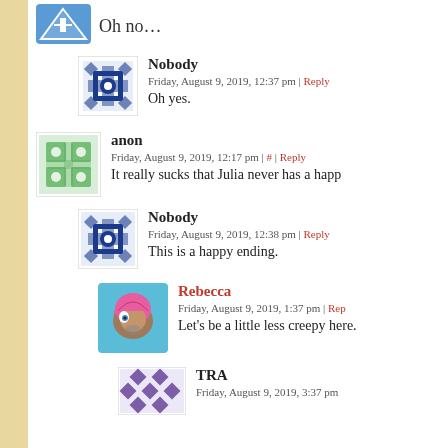[Figure (illustration): Avatar icon — blue geometric pattern on white background, small square]
Oh no…
[Figure (illustration): Avatar icon — blue geometric snowflake/mandala pattern on white, medium square]
Nobody
Friday, August 9, 2019, 12:37 pm | Reply
Oh yes.
[Figure (illustration): Avatar icon — green geometric dotted pattern on white, medium square]
anon
Friday, August 9, 2019, 12:17 pm | # | Reply
It really sucks that Julia never has a happ
[Figure (illustration): Avatar icon — blue geometric snowflake/mandala pattern on white, medium square]
Nobody
Friday, August 9, 2019, 12:38 pm | Reply
This is a happy ending.
[Figure (illustration): Avatar icon — cartoon character with pink hair, blue background, medium square]
Rebecca
Friday, August 9, 2019, 1:37 pm | Rep
Let's be a little less creepy here.
[Figure (illustration): Avatar icon — purple diamond geometric pattern, medium square]
TRA
Friday, August 9, 2019, 3:37 pm